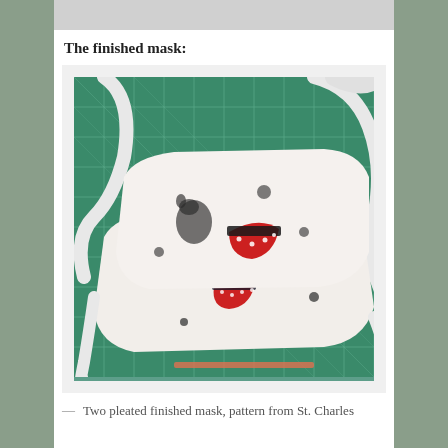The finished mask:
[Figure (photo): Two pleated fabric face masks with white fabric featuring black dog and red watermelon print, with white elastic straps, laid on a green cutting mat]
— Two pleated finished mask, pattern from St. Charles